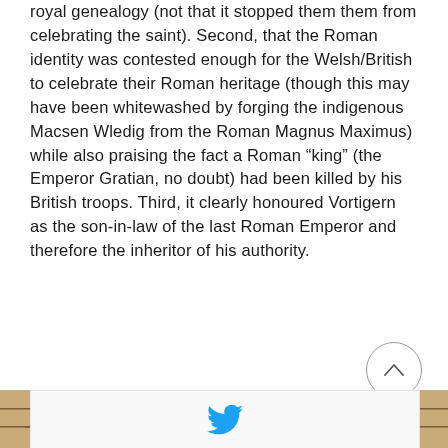royal genealogy (not that it stopped them them from celebrating the saint). Second, that the Roman identity was contested enough for the Welsh/British to celebrate their Roman heritage (though this may have been whitewashed by forging the indigenous Macsen Wledig from the Roman Magnus Maximus) while also praising the fact a Roman “king” (the Emperor Gratian, no doubt) had been killed by his British troops. Third, it clearly honoured Vortigern as the son-in-law of the last Roman Emperor and therefore the inheritor of his authority.
[Figure (illustration): A medieval manuscript illustration showing a crowned figure surrounded by decorative elements on a parchment-colored background with horizontal ruled lines.]
[Figure (logo): Twitter bird logo in light blue color.]